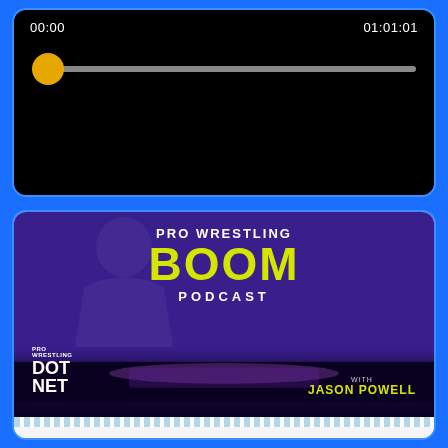[Figure (screenshot): Media player UI showing scrubber at 00:00 with total time 01:01:01, dark background with yellow knob]
[Figure (screenshot): Podcast app card for Pro Wrestling Boom Podcast with Jason Powell. Shows purple cover art, play button, episode title '03/20 Pro Wrestling Boom Podcast With Jason Pow...', time 0:00:00 / 1:03:17, STITCHER branding]